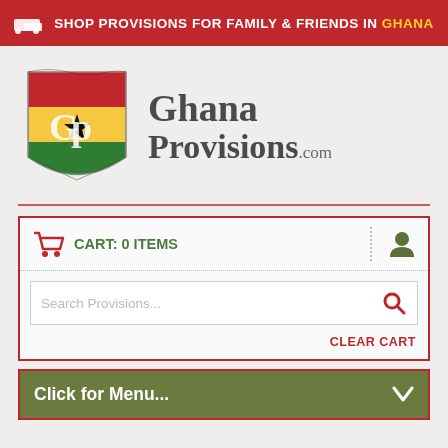SHOP PROVISIONS FOR FAMILY & FRIENDS IN GHANA
[Figure (logo): GhanaProvisions.com logo with Ghanaian flag shield icon and stylized serif text]
CART: 0 items
Search Provisions...
CLEAR CART
Click for Menu...